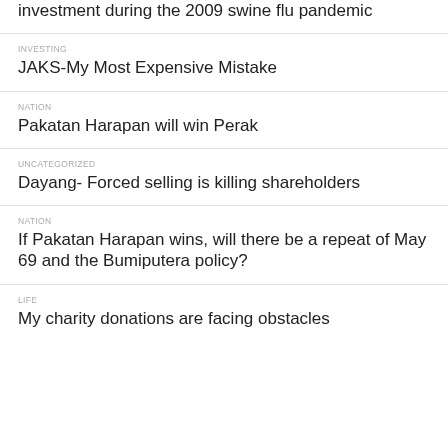investment during the 2009 swine flu pandemic
INVESTING
JAKS-My Most Expensive Mistake
NATION
Pakatan Harapan will win Perak
UNCATEGORIZED
Dayang- Forced selling is killing shareholders
NATION
If Pakatan Harapan wins, will there be a repeat of May 69 and the Bumiputera policy?
LIFE
My charity donations are facing obstacles